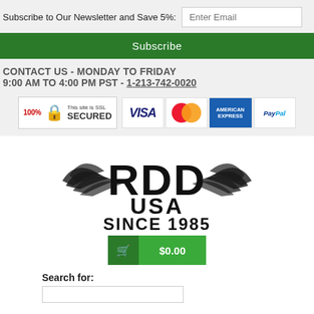Subscribe to Our Newsletter and Save 5%:
Subscribe
CONTACT US - MONDAY TO FRIDAY
9:00 AM TO 4:00 PM PST - 1-213-742-0020
[Figure (logo): SSL 100% Secured badge with padlock icon]
[Figure (logo): Payment method badges: Visa, MasterCard, American Express, PayPal]
[Figure (logo): RDD USA Since 1985 logo with wings]
$0.00
Search for: